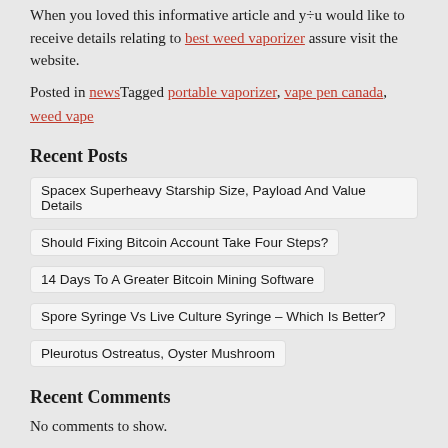When you loved this informative article and you would like to receive details relating to best weed vaporizer assure visit the website.
Posted in newsTagged portable vaporizer, vape pen canada, weed vape
Recent Posts
Spacex Superheavy Starship Size, Payload And Value Details
Should Fixing Bitcoin Account Take Four Steps?
14 Days To A Greater Bitcoin Mining Software
Spore Syringe Vs Live Culture Syringe – Which Is Better?
Pleurotus Ostreatus, Oyster Mushroom
Recent Comments
No comments to show.